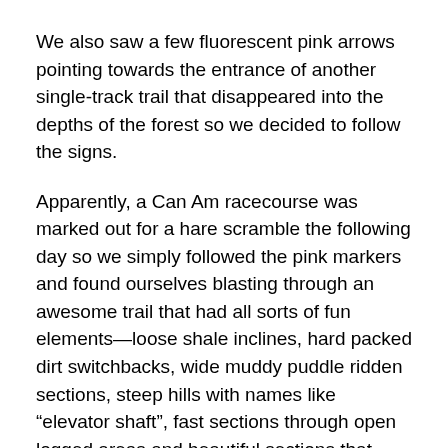We also saw a few fluorescent pink arrows pointing towards the entrance of another single-track trail that disappeared into the depths of the forest so we decided to follow the signs.
Apparently, a Can Am racecourse was marked out for a hare scramble the following day so we simply followed the pink markers and found ourselves blasting through an awesome trail that had all sorts of fun elements—loose shale inclines, hard packed dirt switchbacks, wide muddy puddle ridden sections, steep hills with names like “elevator shaft”, fast sections through open logged areas and beautiful sections that bordered Bardolph Lake.
There were also a lot of cows. Several times we came zooming out of a skinny trail into a wider area where dozens of cows stood lazily staring. Something about the cows was pretty